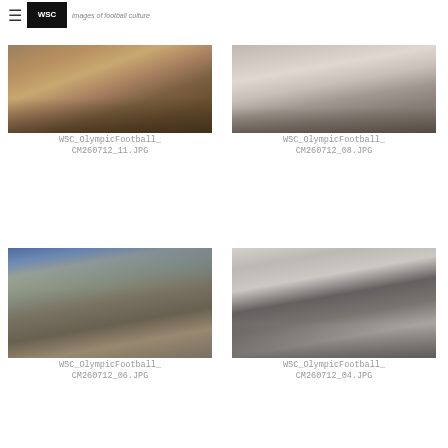WSC — images of football culture
[Figure (photo): Crowd of football fans gathered outdoors, viewed from behind, with people in summer clothing]
WSC_OlympicFootball_CM260712_11.JPG
[Figure (photo): Football fan in red shirt walking away on street, carrying scarf]
WSC_OlympicFootball_CM260712_08.JPG
[Figure (photo): Outdoor market area with international flags and people browsing, woman in blue top visible]
WSC_OlympicFootball_CM260712_06.JPG
[Figure (photo): Exterior of football stadium (Old Trafford) with Olympic rings branding and crowds gathering]
WSC_OlympicFootball_CM260712_04.JPG